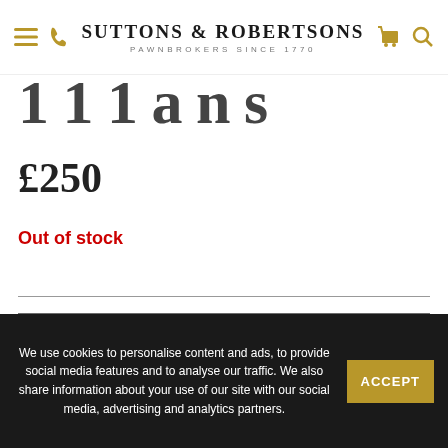Suttons & Robertsons — Pawnbrokers Since 1770
...Plans
£250
Out of stock
ENQUIRE
SELL /PART EXCH...
We use cookies to personalise content and ads, to provide social media features and to analyse our traffic. We also share information about your use of our site with our social media, advertising and analytics partners.
ACCEPT